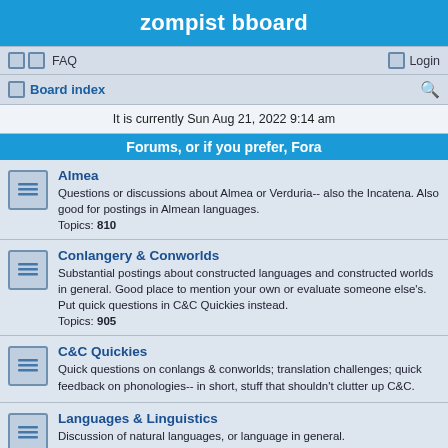zompist bboard
FAQ  Login
Board index
It is currently Sun Aug 21, 2022 9:14 am
Forums, or if you prefer, Fora
Almea
Questions or discussions about Almea or Verduria-- also the Incatena. Also good for postings in Almean languages.
Topics: 810
Conlangery & Conworlds
Substantial postings about constructed languages and constructed worlds in general. Good place to mention your own or evaluate someone else's. Put quick questions in C&C Quickies instead.
Topics: 905
C&C Quickies
Quick questions on conlangs & conworlds; translation challenges; quick feedback on phonologies-- in short, stuff that shouldn't clutter up C&C.
Languages & Linguistics
Discussion of natural languages, or language in general.
Topics: 1768
Ephemera
WE ARE MOVING; see stickied topic.
For very current events, introducing new members, general silliness, and